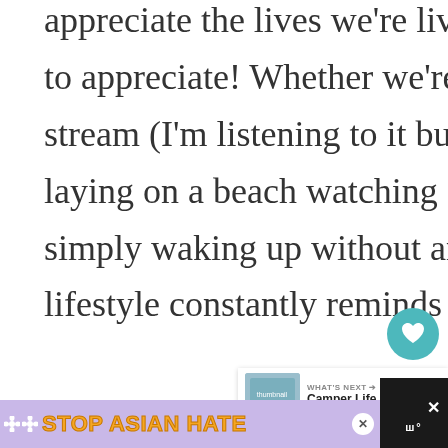appreciate the lives we're living, and there's so much to appreciate! Whether we're sitting next to a glacial stream (I'm listening to it bubbling right now!), or laying on a beach watching dolphins swim by, or simply waking up without an alarm clock, this lifestyle constantly reminds us to appreciate our liv
[Figure (screenshot): UI overlay with heart/like button (teal circle with heart icon), count of 1, and share button (light grey circle with share icon)]
[Figure (screenshot): What's Next panel showing thumbnail and title 'Camper Life' with arrow]
[Figure (screenshot): BE KIND text in large colorful letters with DeVida logo/graphic overlay]
[Figure (screenshot): Stop Asian Hate advertisement banner in purple/lavender with orange bold text, floral decorations, anime girl image, and close button]